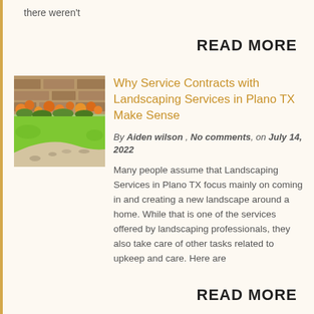there weren't
READ MORE
[Figure (photo): Photo of a landscaped garden with green lawn, stone path, and orange flowers against a stone wall]
Why Service Contracts with Landscaping Services in Plano TX Make Sense
By Aiden wilson , No comments, on July 14, 2022
Many people assume that Landscaping Services in Plano TX focus mainly on coming in and creating a new landscape around a home. While that is one of the services offered by landscaping professionals, they also take care of other tasks related to upkeep and care. Here are
READ MORE